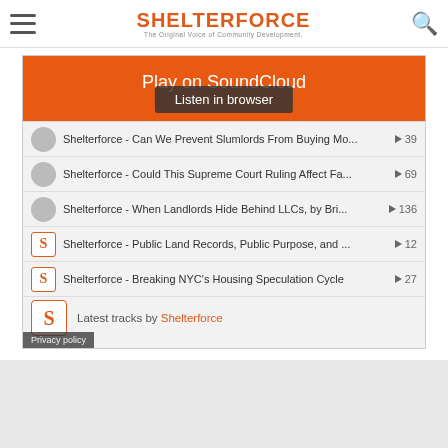SHELTERFORCE — The Original Voice of Community Development
[Figure (screenshot): SoundCloud embedded widget showing 'Play on SoundCloud' orange banner with 'Listen in browser' overlay button, and a playlist of Shelterforce podcast tracks including: 'Can We Prevent Slumlords From Buying Mo...' (39 plays), 'Could This Supreme Court Ruling Affect Fa...' (69 plays), 'When Landlords Hide Behind LLCs, by Bri...' (136 plays), 'Public Land Records, Public Purpose, and ...' (12 plays), 'Breaking NYC's Housing Speculation Cycle' (27 plays). Bottom shows 'Latest tracks by Shelterforce' and 'Privacy policy' badge.]